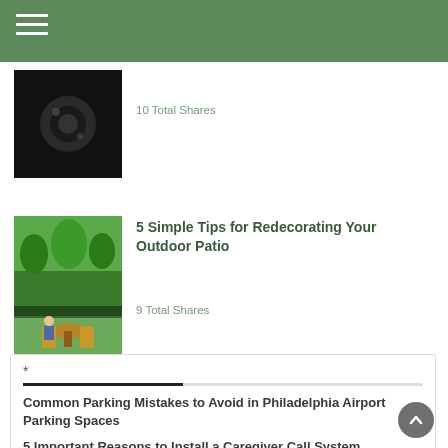Navigation bar with hamburger menu
[Figure (photo): Close-up photo of a dark smartphone or device]
10 Total Shares
[Figure (photo): Outdoor patio scene with chairs and table by a river surrounded by green trees]
5 Simple Tips for Redecorating Your Outdoor Patio
9 Total Shares
*
Common Parking Mistakes to Avoid in Philadelphia Airport Parking Spaces
5 Important Reasons to Install a Caregiver Call System